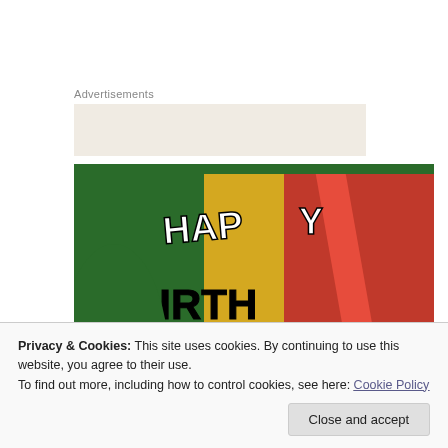Advertisements
[Figure (photo): A person with body paint spelling 'HAPPY BIRTHDAY TO' in green, yellow, and red colors with black lettering, visible from shoulders downward]
Privacy & Cookies: This site uses cookies. By continuing to use this website, you agree to their use.
To find out more, including how to control cookies, see here: Cookie Policy
Close and accept